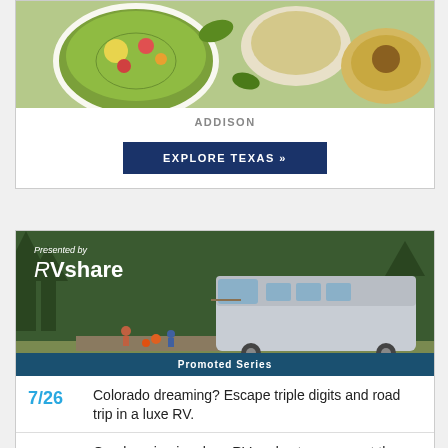[Figure (photo): Aerial view of colorful salad bowls and food dishes]
ADDISON
EXPLORE TEXAS »
[Figure (photo): RVshare promoted series banner with RV at campsite, text: Presented by RVshare, Promoted Series]
7/26 Colorado dreaming? Escape triple digits and road trip in a luxe RV.
4/19 Go glamping in a luxe RV and set up camp at these cool Texas